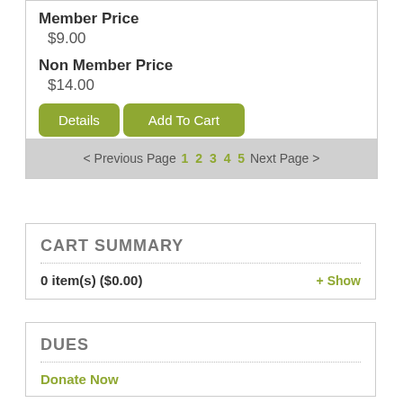Member Price
$9.00
Non Member Price
$14.00
Details   Add To Cart
< Previous Page 1 2 3 4 5 Next Page >
CART SUMMARY
0 item(s) ($0.00)   + Show
DUES
Donate Now